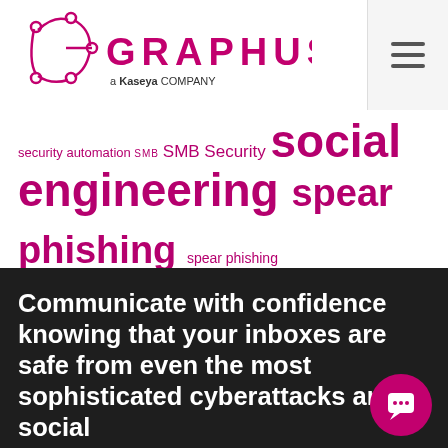GRAPHUS — a Kaseya company
security automation SMB SMB Security social engineering spear phishing spear phishing attacks studies threats whaling
Communicate with confidence knowing that your inboxes are safe from even the most sophisticated cyberattacks and social